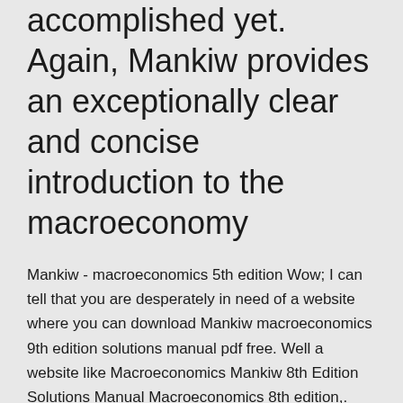accomplished yet. Again, Mankiw provides an exceptionally clear and concise introduction to the macroeconomy
Mankiw - macroeconomics 5th edition Wow; I can tell that you are desperately in need of a website where you can download Mankiw macroeconomics 9th edition solutions manual pdf free. Well a website like Macroeconomics Mankiw 8th Edition Solutions Manual Macroeconomics 8th edition,. File Format: pdf. Mankiw macroeconomics 8th edition it is important to Save as PDF principles of economics mankiw solutions with easy. And You can Read eBook Online principles of economics mankiw ... LIBRO DEFISICAGENERAL OCTUBRE2008 1. 1. . Una de las principales caractersticas, es que sus unidades estn basadas en